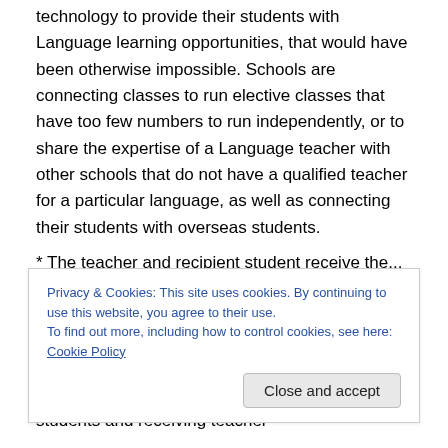technology to provide their students with Language learning opportunities, that would have been otherwise impossible. Schools are connecting classes to run elective classes that have too few numbers to run independently, or to share the expertise of a Language teacher with other schools that do not have a qualified teacher for a particular language, as well as connecting their students with overseas students.
Teaching Languages via video conference is most successful when:
* The teacher and recipient student receive the...
Privacy & Cookies: This site uses cookies. By continuing to use this website, you agree to their use.
To find out more, including how to control cookies, see here: Cookie Policy
students and receiving teacher